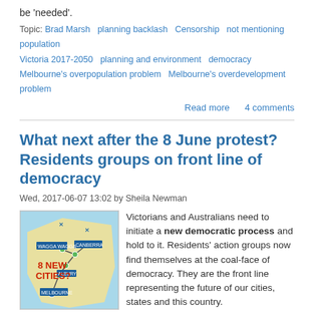be 'needed'.
Topic: Brad Marsh   planning backlash   Censorship   not mentioning population   Victoria 2017-2050   planning and environment   democracy   Melbourne's overpopulation problem   Melbourne's overdevelopment problem
Read more   4 comments
What next after the 8 June protest? Residents groups on front line of democracy
Wed, 2017-06-07 13:02 by Sheila Newman
[Figure (map): Map showing cities connected by lines including Melbourne, Albury, Canberra, Wagga Wagga, and other locations, with text '8 NEW CITIES?']
Victorians and Australians need to initiate a new democratic process and hold to it. Residents' action groups now find themselves at the coal-face of democracy. They are the front line representing the future of our cities, states and this country.
Topic: property rights   planning backlash   8 June Protest   new democratic process   Melbourne's overpopulation problem   democracy alert   Melbourne's overdevelopment problem
Read more   4 comments